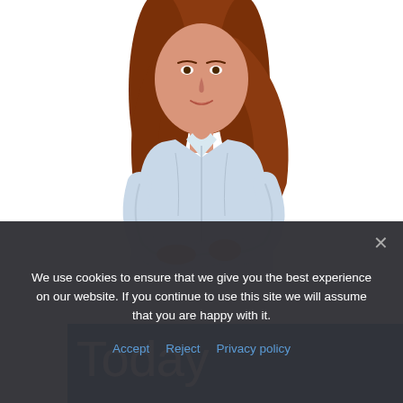[Figure (photo): A woman with red/auburn hair wearing a light blue button-up shirt, arms crossed, photographed from the waist up against a white background. She stands above a large blue diagonal banner that reads 'Start Your Business Today'.]
Start Your Business Today
We use cookies to ensure that we give you the best experience on our website. If you continue to use this site we will assume that you are happy with it.
Accept  Reject  Privacy policy